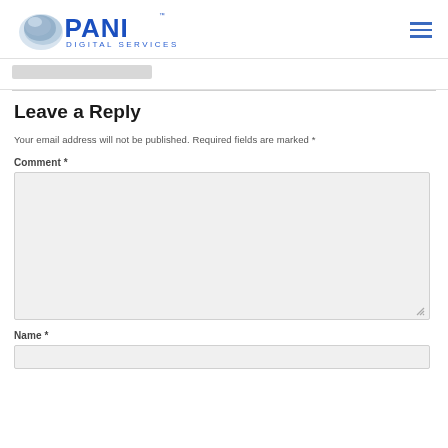[Figure (logo): PANI Digital Services logo with globe graphic and blue text]
[Figure (other): Hamburger menu icon (three horizontal blue lines)]
[Figure (other): Search bar input mock (gray rectangle)]
Leave a Reply
Your email address will not be published. Required fields are marked *
Comment *
[Figure (other): Comment text area input box (large gray rectangle with resize handle)]
Name *
[Figure (other): Name text input box (gray rectangle)]